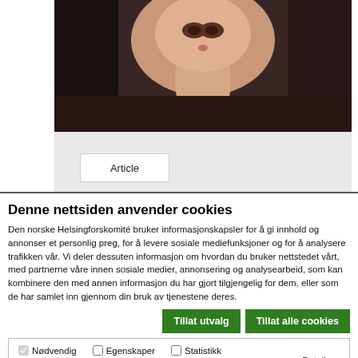[Figure (photo): Partial photo of a person's face and neck cropped, dark background]
Article
Denne nettsiden anvender cookies
Den norske Helsingforskomité bruker informasjonskapsler for å gi innhold og annonser et personlig preg, for å levere sosiale mediefunksjoner og for å analysere trafikken vår. Vi deler dessuten informasjon om hvordan du bruker nettstedet vårt, med partnerne våre innen sosiale medier, annonsering og analysearbeid, som kan kombinere den med annen informasjon du har gjort tilgjengelig for dem, eller som de har samlet inn gjennom din bruk av tjenestene deres.
Tillat utvalg
Tillat alle cookies
Nødvendig   Egenskaper   Statistikk   Markedsføring   Detaljer